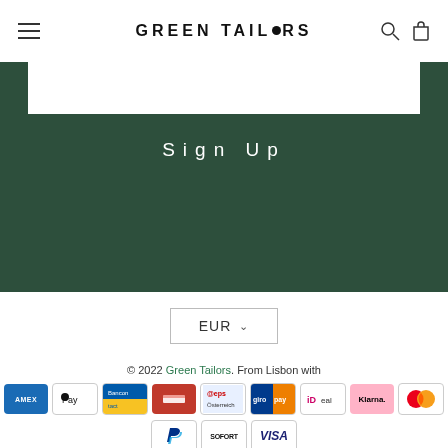GREEN TAILORS
Sign Up
EUR
© 2022 Green Tailors. From Lisbon with
[Figure (logo): Payment method icons: AMEX, Apple Pay, Bancontact, generic red card, EPS, Giropay, iDEAL, Klarna, Mastercard, PayPal, Sofort, VISA]